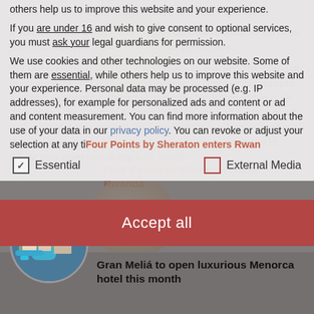others help us to improve this website and your experience.
If you are under 16 and wish to give consent to optional services, you must ask your legal guardians for permission.
We use cookies and other technologies on our website. Some of them are essential, while others help us to improve this website and your experience. Personal data may be processed (e.g. IP addresses), for example for personalized ads and content or ad and content measurement. You can find more information about the use of your data in our privacy policy. You can revoke or adjust your selection at any time under Settings.
✓ Essential
☐ External Media
Accept all
Four Points by Sheraton enters Rwanda
[Figure (photo): Circular thumbnail photo of a hotel/resort aerial view]
Hyatt introduces a collection hotel
[Figure (photo): Circular thumbnail aerial photo of Gran Melia resort with pool]
Gran Meliá to open luxurious Menorca hotel this month